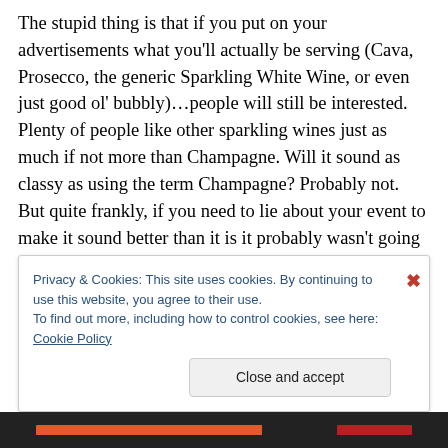The stupid thing is that if you put on your advertisements what you'll actually be serving (Cava, Prosecco, the generic Sparkling White Wine, or even just good ol' bubbly)…people will still be interested.  Plenty of people like other sparkling wines just as much if not more than Champagne.  Will it sound as classy as using the term Champagne?  Probably not. But quite frankly, if you need to lie about your event to make it sound better than it is it probably wasn't going to be that classy anyway.  It's not unfair to question whether if you ordered a gin martini at a place like that, would they actually give you a lower priced
Privacy & Cookies: This site uses cookies. By continuing to use this website, you agree to their use.
To find out more, including how to control cookies, see here: Cookie Policy